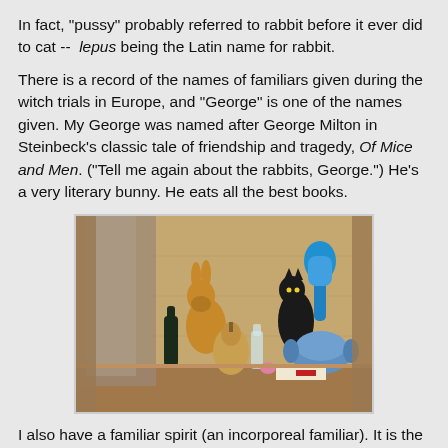In fact, "pussy" probably referred to rabbit before it ever did to cat --  lepus being the Latin name for rabbit.
There is a record of the names of familiars given during the witch trials in Europe, and "George" is one of the names given. My George was named after George Milton in Steinbeck's classic tale of friendship and tragedy, Of Mice and Men. ("Tell me again about the rabbits, George.") He's a very literary bunny. He eats all the best books.
[Figure (photo): A wooden shelf with various objects: a gold/bronze rabbit figurine, a black cat figurine, a blue vase, a blue-handled brush or mirror, a gourd or decorative pear, small glass bottles, and fabric in the background.]
I also have a familiar spirit (an incorporeal familiar). It is the